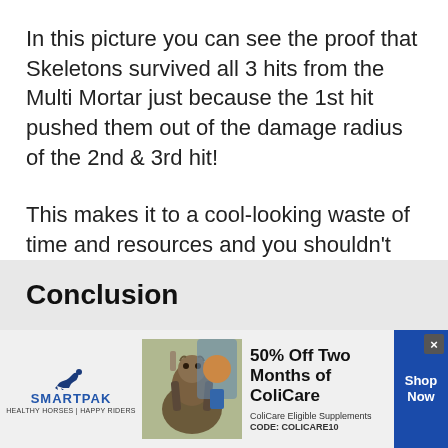In this picture you can see the proof that Skeletons survived all 3 hits from the Multi Mortar just because the 1st hit pushed them out of the damage radius of the 2nd & 3rd hit!
This makes it to a cool-looking waste of time and resources and you shouldn't gear it up before you have done everything else with your Master Builder…
Conclusion
[Figure (other): Advertisement banner for SmartPak featuring a horse and rider, promoting 50% off two months of ColiCare with code COLICARE10, with a Shop Now button.]